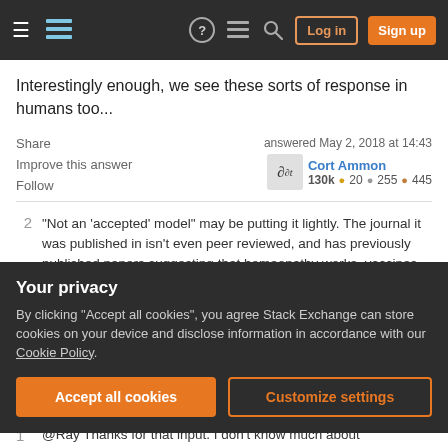Stack Exchange navigation bar with Log in and Sign up buttons
Interestingly enough, we see these sorts of response in humans too...
Share   Improve this answer   Follow
answered May 2, 2018 at 14:43   Cort Ammon   130k ● 20 ● 255 ● 445
2   "Not an 'accepted' model" may be putting it lightly. The journal it was published in isn't even peer reviewed, and has previously published papers suggesting that homeopathy works, vaccines cause autism, and HIV doesn't cause AIDS. It's not completely a crackpots-
Your privacy
By clicking "Accept all cookies", you agree Stack Exchange can store cookies on your device and disclose information in accordance with our Cookie Policy.
Accept all cookies   Customize settings
1   @Ray Thanks for that input. I don't know much about